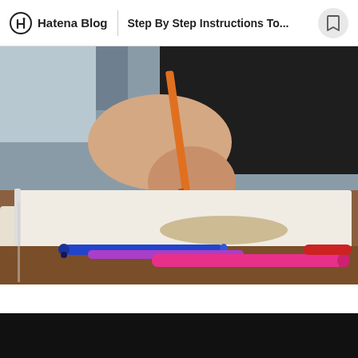Hatena Blog | Step By Step Instructions To...
[Figure (photo): Person writing on paper with an orange pencil; colorful pens on table in foreground (blue, purple, pink/magenta, red)]
On the off chance that you are battling to come up with a fascinating topic, at that